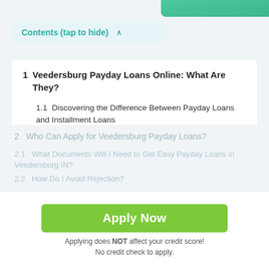Contents (tap to hide) ^
1  Veedersburg Payday Loans Online: What Are They?
1.1  Discovering the Difference Between Payday Loans and Installment Loans
1.2  What are Typical Situations to Apply for Online Payday Loans Veedersburg in Indiana IN?
2  Who Can Apply for Veedersburg Payday Loans?
2.1  What Documents Will I Need to Get Easy Payday Loans in Veedersburg IN?
2.2  How Do I Avoid Rejection?
Apply Now
Applying does NOT affect your credit score! No credit check to apply.